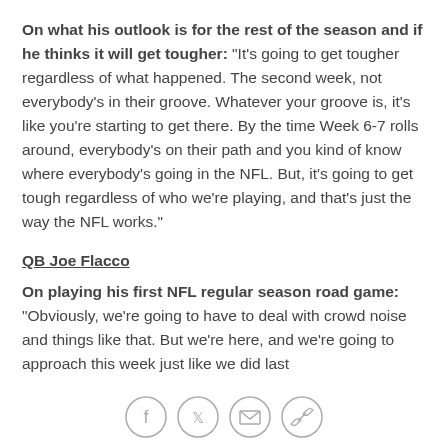On what his outlook is for the rest of the season and if he thinks it will get tougher: "It's going to get tougher regardless of what happened. The second week, not everybody's in their groove. Whatever your groove is, it's like you're starting to get there. By the time Week 6-7 rolls around, everybody's on their path and you kind of know where everybody's going in the NFL. But, it's going to get tough regardless of who we're playing, and that's just the way the NFL works."
QB Joe Flacco
On playing his first NFL regular season road game: "Obviously, we're going to have to deal with crowd noise and things like that. But we're here, and we're going to approach this week just like we did last
[Figure (other): Social sharing icons: Facebook, Twitter, Email, Link]